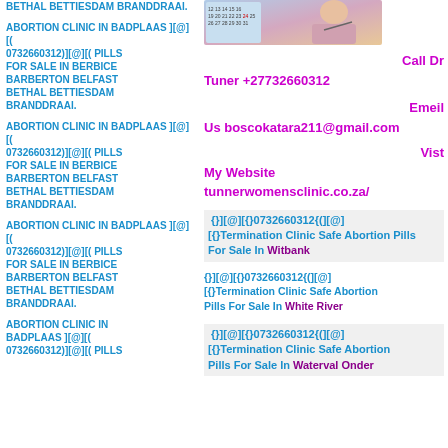BETHAL BETTIESDAM BRANDDRAAI.
[Figure (photo): Person writing on a calendar/planner with dates visible]
Call Dr Tuner +27732660312
Emeil Us boscokatara211@gmail.com
Vist My Website tunnerwomensclinic.co.za/
ABORTION CLINIC IN BADPLAAS ][@][( 0732660312)][@][( PILLS FOR SALE IN BERBICE BARBERTON BELFAST BETHAL BETTIESDAM BRANDDRAAI.
ABORTION CLINIC IN BADPLAAS ][@][( 0732660312)][@][( PILLS FOR SALE IN BERBICE BARBERTON BELFAST BETHAL BETTIESDAM BRANDDRAAI.
{}][@][{}0732660312{(][@][{}Termination Clinic Safe Abortion Pills For Sale In Witbank
{}][@][{}0732660312{(][@][{}Termination Clinic Safe Abortion Pills For Sale In White River
{}][@][{}0732660312{(][@][{}Termination Clinic Safe Abortion Pills For Sale In Waterval Onder
ABORTION CLINIC IN BADPLAAS ][@][( 0732660312)][@][( PILLS FOR SALE IN BERBICE BARBERTON BELFAST BETHAL BETTIESDAM BRANDDRAAI.
ABORTION CLINIC IN BADPLAAS ][@][(